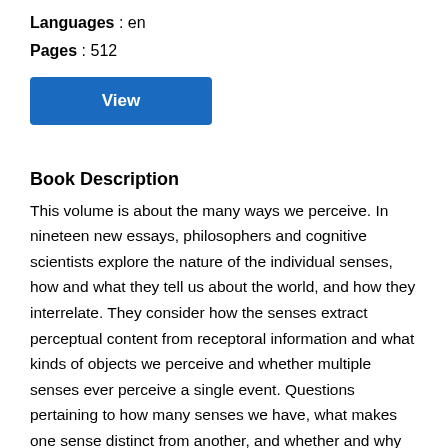Languages : en
Pages : 512
[Figure (other): Blue 'View' button]
Book Description
This volume is about the many ways we perceive. In nineteen new essays, philosophers and cognitive scientists explore the nature of the individual senses, how and what they tell us about the world, and how they interrelate. They consider how the senses extract perceptual content from receptoral information and what kinds of objects we perceive and whether multiple senses ever perceive a single event. Questions pertaining to how many senses we have, what makes one sense distinct from another, and whether and why distinguishing senses may be useful feature prominently. Contributors examine the extent to which the senses act in concert